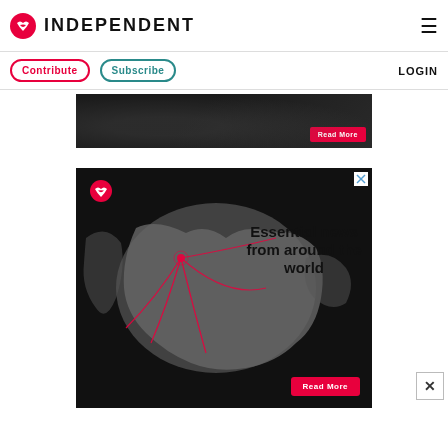INDEPENDENT
Contribute | Subscribe | LOGIN
[Figure (screenshot): Partial dark advertisement banner at top]
[Figure (screenshot): Independent advertisement showing a world map on dark background with red arc lines radiating from Europe, eagle logo top left, text 'Essential news from around the world', red 'Read More' button bottom right, and close X button top right]
[Figure (other): Close X button bottom right corner]